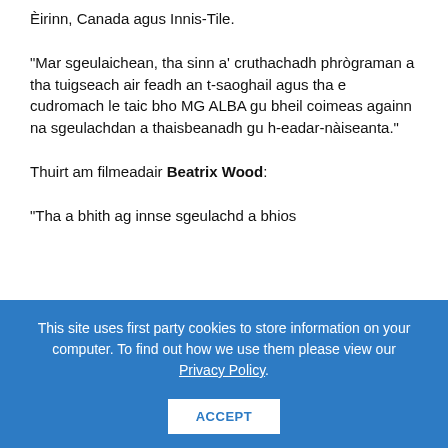Èirinn, Canada agus Innis-Tile.
“Mar sgeulaichean, tha sinn a’ cruthachadh phrògraman a tha tuigseach air feadh an t-saoghail agus tha e cudromach le taic bho MG ALBA gu bheil coimeas againn na sgeulachdan a thaisbeanadh gu h-eadar-nàiseanta.”
Thuirt am filmeadair Beatrix Wood:
“Tha a bhith ag innse sgeulachd a bhios
This site uses first party cookies to store information on your computer. To find out how we use them please view our Privacy Policy.
ACCEPT